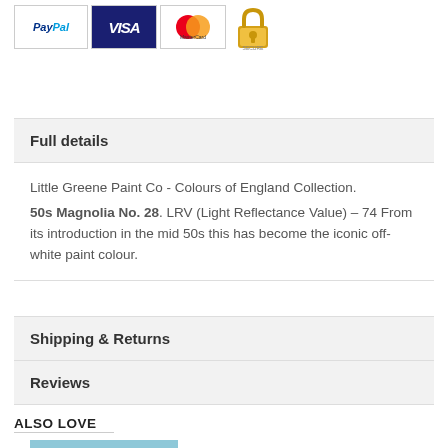[Figure (logo): Payment logos: PayPal, Visa, MasterCard, SSL secure badge]
Full details
Little Greene Paint Co - Colours of England Collection.
50s Magnolia No. 28. LRV (Light Reflectance Value) – 74 From its introduction in the mid 50s this has become the iconic off-white paint colour.
Shipping & Returns
Reviews
ALSO LOVE
[Figure (photo): Blue-grey colour swatch / product image, partially visible at bottom of page]